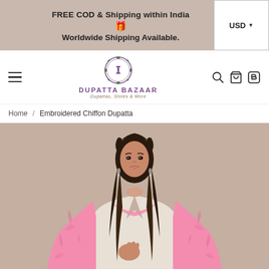FREE COD & Shipping within India
🎁
Worldwide Shipping Available.
[Figure (logo): Dupatta Bazaar logo with decorative circular emblem, brand name in purple and tagline 'Dupattas, Stoles & More']
Home / Embroidered Chiffon Dupatta
[Figure (photo): A young woman with dark hair wearing a white V-neck top and a pink embroidered chiffon dupatta draped over her shoulders, posed against a taupe/beige background.]